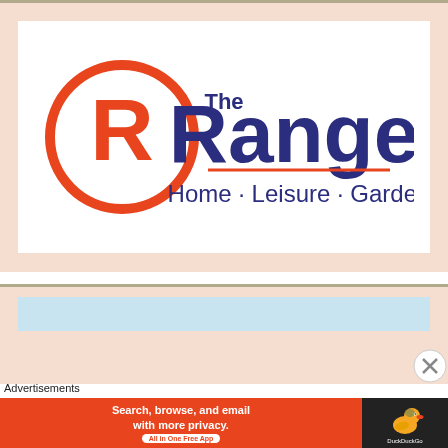[Figure (logo): The Range logo: orange circle with R, navy blue text 'The Range' with subtitle 'Home · Leisure · Garden', on white background within a salmon/peach colored border area]
[Figure (screenshot): Partial second section with light blue bar visible at bottom, salmon background]
Advertisements
[Figure (screenshot): DuckDuckGo advertisement banner: orange background on left with text 'Search, browse, and email with more privacy. All in One Free App', dark right side with DuckDuckGo duck logo]